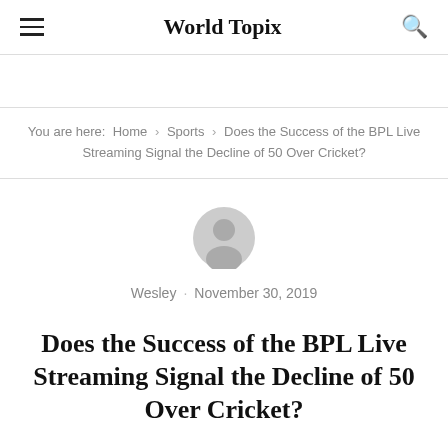World Topix
You are here: Home › Sports › Does the Success of the BPL Live Streaming Signal the Decline of 50 Over Cricket?
[Figure (illustration): Circular grey avatar/user profile icon]
Wesley · November 30, 2019
Does the Success of the BPL Live Streaming Signal the Decline of 50 Over Cricket?